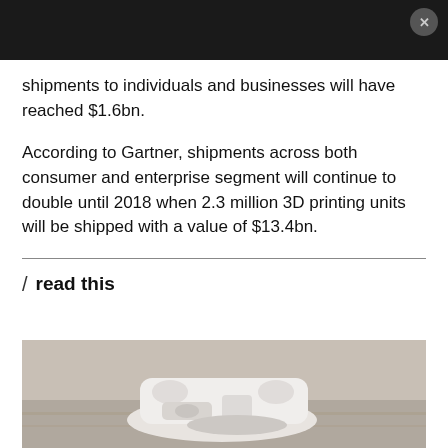shipments to individuals and businesses will have reached $1.6bn.
According to Gartner, shipments across both consumer and enterprise segment will continue to double until 2018 when 2.3 million 3D printing units will be shipped with a value of $13.4bn.
/ read this
[Figure (photo): A white 3D-printed object on a wooden surface, showing a complex mechanical or anatomical part printed in white plastic.]